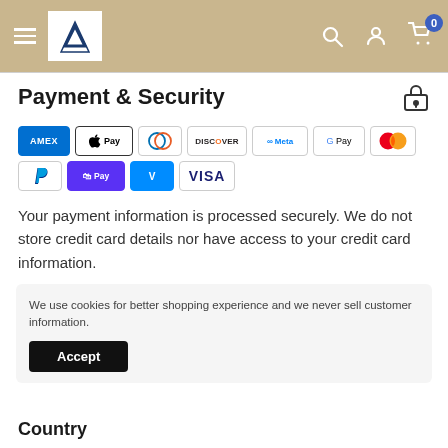Navigation bar with hamburger menu, logo, search, account, and cart icons
Payment & Security
[Figure (infographic): Payment method logos: AMEX, Apple Pay, Diners Club, Discover, Meta Pay, Google Pay, Mastercard, PayPal, Shop Pay, Venmo, Visa]
Your payment information is processed securely. We do not store credit card details nor have access to your credit card information.
We use cookies for better shopping experience and we never sell customer information.
Country